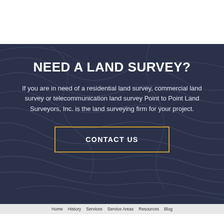NEED A LAND SURVEY?
If you are in need of a residential land survey, commercial land survey or telecommunication land survey Point to Point Land Surveyors, Inc. is the land surveying firm for your project.
CONTACT US
Home   History   Services   Service Areas   Resources   Blog